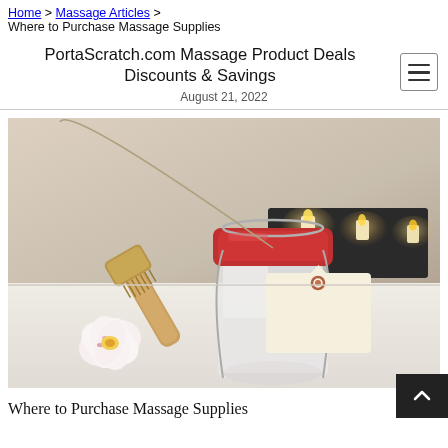Home > Massage Articles > Where to Purchase Massage Supplies
PortaScratch.com Massage Product Deals Discounts & Savings
August 21, 2022
[Figure (photo): Spa massage supplies: a wooden brush, an open glass jar with a price tag, a white orchid flower, and lit candles in the background on a white surface.]
Where to Purchase Massage Supplies